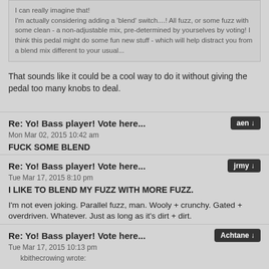I can really imagine that!
I'm actually considering adding a 'blend' switch....! All fuzz, or some fuzz with some clean - a non-adjustable mix, pre-determined by yourselves by voting! I think this pedal might do some fun new stuff - which will help distract you from a blend mix different to your usual...
That sounds like it could be a cool way to do it without giving the pedal too many knobs to deal.
Re: Yo! Bass player! Vote here...
Mon Mar 02, 2015 10:42 am
FUCK SOME BLEND
Re: Yo! Bass player! Vote here...
Tue Mar 17, 2015 8:10 pm
I LIKE TO BLEND MY FUZZ WITH MORE FUZZ.
I'm not even joking. Parallel fuzz, man. Wooly + crunchy. Gated + overdriven. Whatever. Just as long as it's dirt + dirt.
Re: Yo! Bass player! Vote here...
Tue Mar 17, 2015 10:13 pm
kbithecrowing wrote: